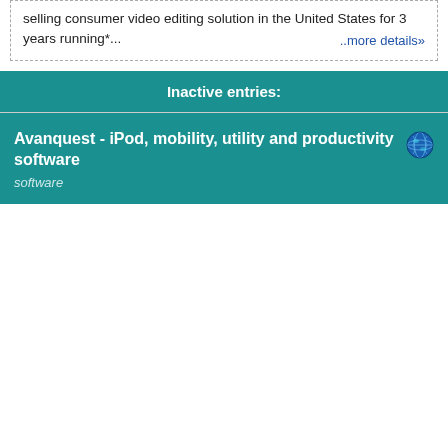selling consumer video editing solution in the United States for 3 years running*...  ..more details»
Inactive entries:
Avanquest - iPod, mobility, utility and productivity software
software